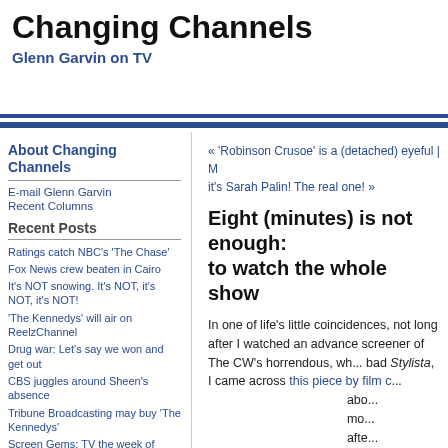Changing Channels
Glenn Garvin on TV
About Changing Channels
E-mail Glenn Garvin
Recent Columns
Recent Posts
Ratings catch NBC's 'The Chase'
Fox News crew beaten in Cairo
It's NOT snowing. It's NOT, it's NOT, it's NOT!
'The Kennedys' will air on ReelzChannel
Drug war: Let's say we won and get out
CBS juggles around Sheen's absence
Tribune Broadcasting may buy 'The Kennedys'
Screen Gems: TV the week of January 30
Piers Morgan: Boobs! Sex tapes! No viewers!
Friday afternoon, and the readin' is easy
« 'Robinson Crusoe' is a (detached) eyeful | M... it's Sarah Palin! The real one! »
Eight (minutes) is not enough: to watch the whole show
In one of life's little coincidences, not long after I watched an advance screener of The CW's horrendous, wh... bad Stylista, I came across this piece by film c... about mo... after see... tha... bu... mi... mu... Sty... did... slo... eve...